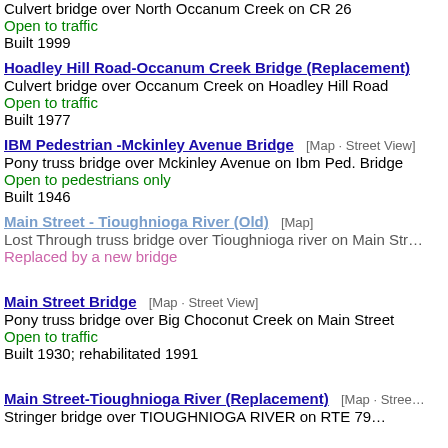Culvert bridge over North Occanum Creek on CR 26
Open to traffic
Built 1999
Hoadley Hill Road-Occanum Creek Bridge (Replacement)
Culvert bridge over Occanum Creek on Hoadley Hill Road
Open to traffic
Built 1977
IBM Pedestrian -Mckinley Avenue Bridge
[Map · Street View]
Pony truss bridge over Mckinley Avenue on Ibm Ped. Bridge
Open to pedestrians only
Built 1946
Main Street - Tioughnioga River (Old)
[Map]
Lost Through truss bridge over Tioughnioga river on Main Str…
Replaced by a new bridge
Main Street Bridge
[Map · Street View]
Pony truss bridge over Big Choconut Creek on Main Street
Open to traffic
Built 1930; rehabilitated 1991
Main Street-Tioughnioga River (Replacement)
[Map · Stree…
Stringer bridge over TIOUGHNIOGA RIVER on RTE 79…